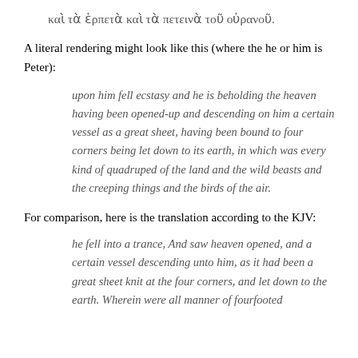καὶ τὰ ἑρπετὰ καὶ τὰ πετεινὰ τοῦ οὐρανοῦ.
A literal rendering might look like this (where the he or him is Peter):
upon him fell ecstasy and he is beholding the heaven having been opened-up and descending on him a certain vessel as a great sheet, having been bound to four corners being let down to its earth, in which was every kind of quadruped of the land and the wild beasts and the creeping things and the birds of the air.
For comparison, here is the translation according to the KJV:
he fell into a trance, And saw heaven opened, and a certain vessel descending unto him, as it had been a great sheet knit at the four corners, and let down to the earth. Wherein were all manner of fourfooted